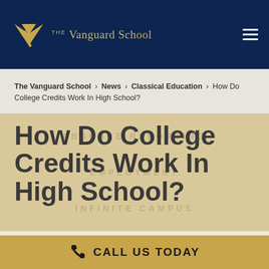The Vanguard School
The Vanguard School > News > Classical Education > How Do College Credits Work In High School?
How Do College Credits Work In High School?
December 30, 2020
Category: CLASSICAL EDUCATION
CALL US TODAY